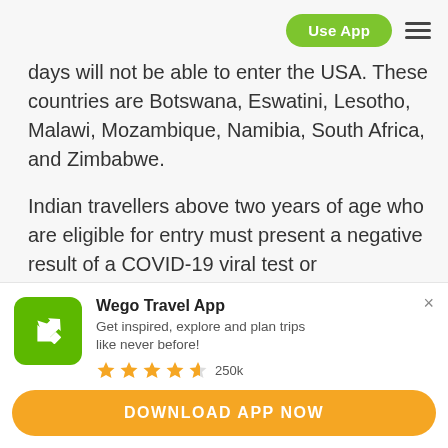Use App  ≡
days will not be able to enter the USA. These countries are Botswana, Eswatini, Lesotho, Malawi, Mozambique, Namibia, South Africa, and Zimbabwe.
Indian travellers above two years of age who are eligible for entry must present a negative result of a COVID-19 viral test or documentation of recovery
[Figure (screenshot): Wego Travel App advertisement banner with green app icon showing airplane, title 'Wego Travel App', subtitle 'Get inspired, explore and plan trips like never before!', 4.5 star rating with 250k reviews, and orange DOWNLOAD APP NOW button.]